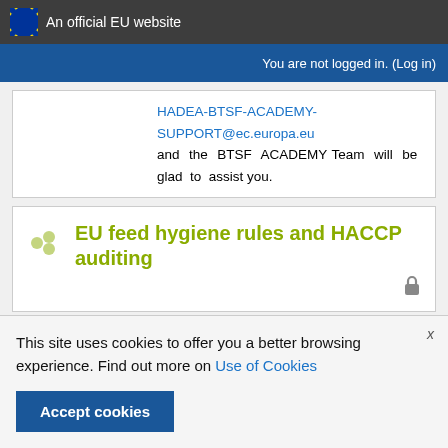An official EU website
You are not logged in. (Log in)
HADEA-BTSF-ACADEMY-SUPPORT@ec.europa.eu and the BTSF ACADEMY Team will be glad to assist you.
EU feed hygiene rules and HACCP auditing
This site uses cookies to offer you a better browsing experience. Find out more on Use of Cookies
Accept cookies